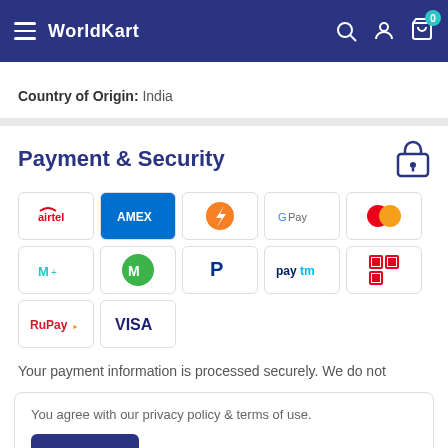WorldKart — navigation bar with hamburger menu, search, account, and cart (0 items)
Country of Origin: India
Payment & Security
[Figure (logo): Payment method logos: Airtel, AMEX, PhonePe, Google Pay, Mastercard, MobiKwik, Mswipe, PayPal, Paytm, PhonePe (QR), RuPay, Visa]
Your payment information is processed securely. We do not
You agree with our privacy policy & terms of use.
Accept